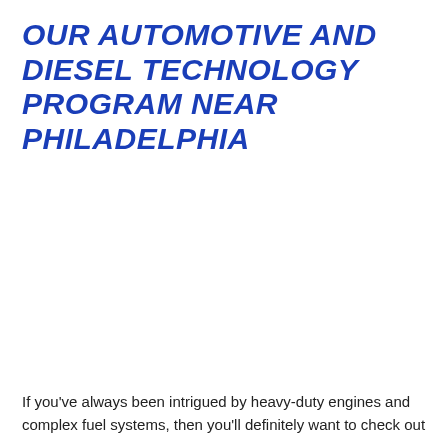OUR AUTOMOTIVE AND DIESEL TECHNOLOGY PROGRAM NEAR PHILADELPHIA
If you've always been intrigued by heavy-duty engines and complex fuel systems, then you'll definitely want to check out